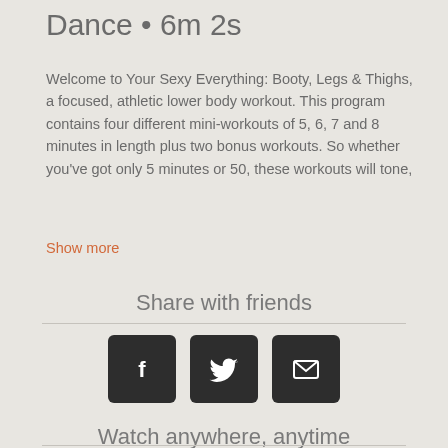Dance • 6m 2s
Welcome to Your Sexy Everything: Booty, Legs & Thighs, a focused, athletic lower body workout. This program contains four different mini-workouts of 5, 6, 7 and 8 minutes in length plus two bonus workouts. So whether you've got only 5 minutes or 50, these workouts will tone,
Show more
Share with friends
[Figure (infographic): Three social sharing buttons: Facebook (f icon), Twitter (bird icon), Email (envelope icon), dark rounded square buttons]
Watch anywhere, anytime